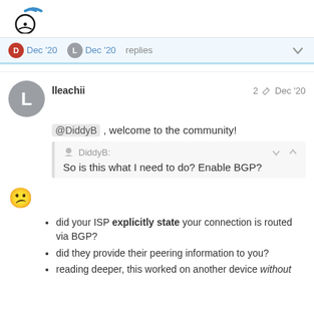[Figure (logo): WiFi/networking site logo with circular wifi icon]
D Dec '20   L Dec '20   replies
lleachii   2   Dec '20
@DiddyB , welcome to the community!
DiddyB: So is this what I need to do? Enable BGP?
😕
did your ISP explicitly state your connection is routed via BGP?
did they provide their peering information to you?
reading deeper, this worked on another device without